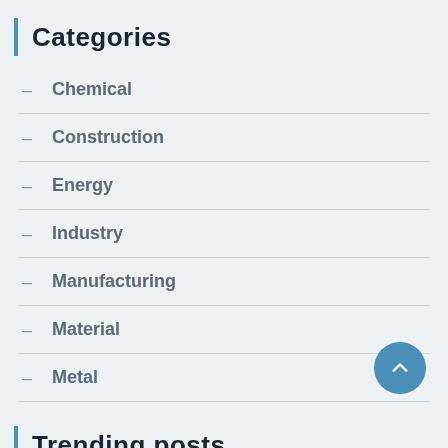Categories
Chemical
Construction
Energy
Industry
Manufacturing
Material
Metal
Trending posts